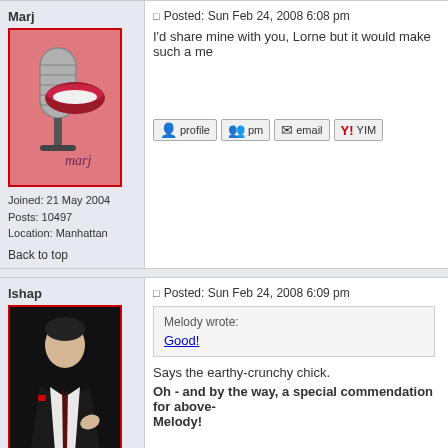Marj
[Figure (photo): Avatar image with pink background, microphone and lips, text 'marj']
Joined: 21 May 2004
Posts: 10497
Location: Manhattan
Back to top
Posted: Sun Feb 24, 2008 6:08 pm
I'd share mine with you, Lorne but it would make such a me
profile   pm   email   YIM
lshap
Posted: Sun Feb 24, 2008 6:09 pm
[Figure (photo): Avatar image of man in dark suit on black background (Godfather style)]
Site Admin
Joined: 12 May 2004
Posts: 4246
Melody wrote:
Good!
Says the earthy-crunchy chick.
Oh - and by the way, a special commendation for above- Melody!